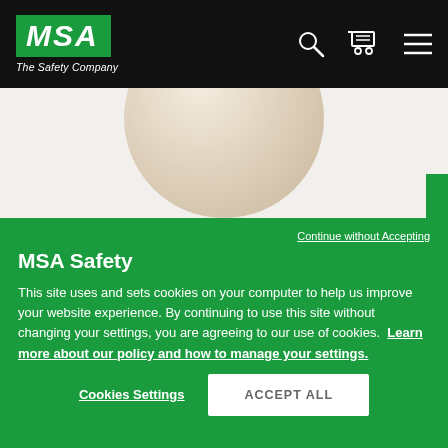[Figure (logo): MSA The Safety Company logo — white italic bold text on green background, with tagline 'The Safety Company' in white italic below]
[Figure (photo): MSA safety helmet/hard hat shown as a beige/tan rounded object against white background]
Continue without Accepting
MSA Safety
This site uses and sets cookies on your computer to help us improve your website experience. By continuing to use this site without changing your settings, you are agreeing to our use of cookies. Learn more about our policy and how to manage your settings.
Cookies Settings
ACCEPT ALL